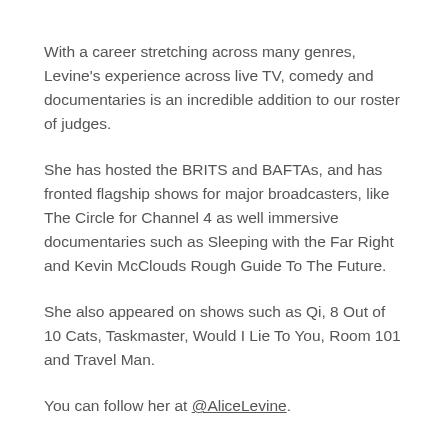With a career stretching across many genres, Levine's experience across live TV, comedy and documentaries is an incredible addition to our roster of judges.
She has hosted the BRITS and BAFTAs, and has fronted flagship shows for major broadcasters, like The Circle for Channel 4 as well immersive documentaries such as Sleeping with the Far Right and Kevin McClouds Rough Guide To The Future.
She also appeared on shows such as Qi, 8 Out of 10 Cats, Taskmaster, Would I Lie To You, Room 101 and Travel Man.
You can follow her at @AliceLevine.